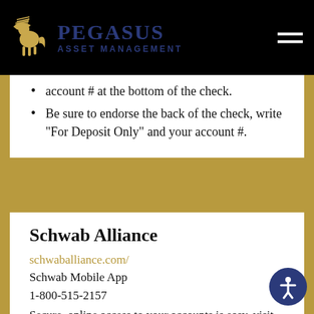Pegasus Asset Management
account # at the bottom of the check.
Be sure to endorse the back of the check, write “For Deposit Only” and your account #.
Schwab Alliance
schwaballiance.com/
Schwab Mobile App
1-800-515-2157
Secure, online access to your accounts is easy, visit the Schwab Alliance website or Schwab Mobile App to view account balances & transactions, access tax documents, open new accounts, and more.